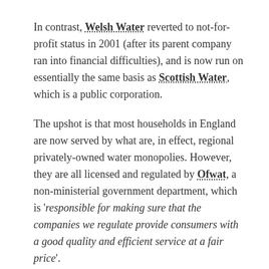In contrast, Welsh Water reverted to not-for-profit status in 2001 (after its parent company ran into financial difficulties), and is now run on essentially the same basis as Scottish Water, which is a public corporation.
The upshot is that most households in England are now served by what are, in effect, regional privately-owned water monopolies. However, they are all licensed and regulated by Ofwat, a non-ministerial government department, which is 'responsible for making sure that the companies we regulate provide consumers with a good quality and efficient service at a fair price'.
Ofwat's main regulatory tool is a price review that takes place every five years. Currently Ofwat is in the process of completing PR19, which will cover the period from April 2020 to March 2025. This is expected to impose price cuts